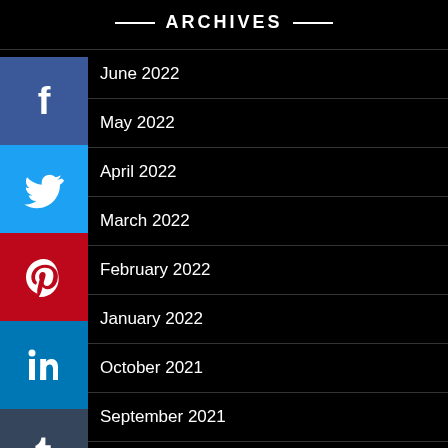ARCHIVES
June 2022
May 2022
April 2022
March 2022
February 2022
January 2022
October 2021
September 2021
August 2021
[Figure (infographic): Social media sharing sidebar with icons for Facebook, Twitter, Pinterest, LinkedIn, Tumblr, Reddit, and Email]